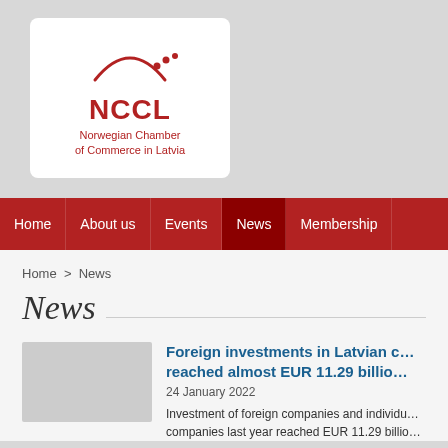[Figure (logo): NCCL Norwegian Chamber of Commerce in Latvia logo — red arc with dots above NCCL text and organization name]
Home  >  About us  >  Events  >  News  >  Membership
Home > News
News
Foreign investments in Latvian companies last year reached almost EUR 11.29 billion
24 January 2022
Investment of foreign companies and individuals in Latvian companies last year reached EUR 11.29 billio…